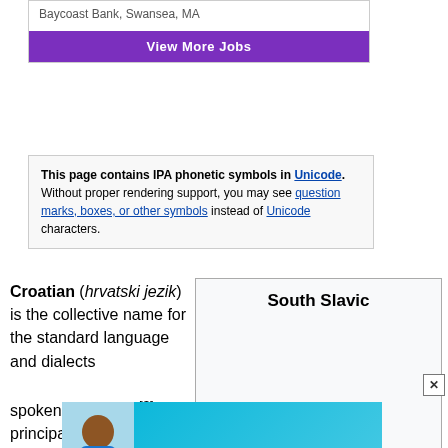Baycoast Bank, Swansea, MA
View More Jobs
This page contains IPA phonetic symbols in Unicode. Without proper rendering support, you may see question marks, boxes, or other symbols instead of Unicode characters.
Croatian (hrvatski jezik) is the collective name for the standard language and dialects spoken by Croats,[3] principally in Croatia, Bosnia and
South Slavic
[Figure (photo): Advertisement banner for Comfort Keepers healthcare with text 'Kickstart your career in healthcare', showing a person in blue scrubs and the Comfort Keepers logo (a Sodexo brand)]